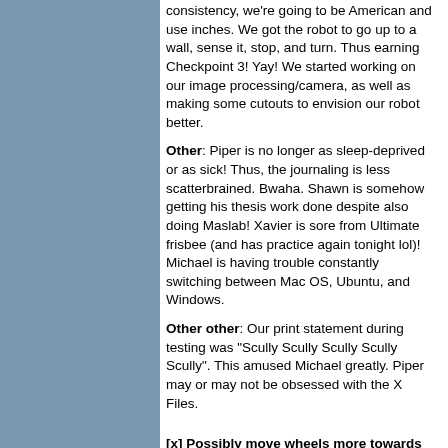consistency, we're going to be American and use inches. We got the robot to go up to a wall, sense it, stop, and turn. Thus earning Checkpoint 3! Yay! We started working on our image processing/camera, as well as making some cutouts to envision our robot better.
Other: Piper is no longer as sleep-deprived or as sick! Thus, the journaling is less scatterbrained. Bwaha. Shawn is somehow getting his thesis work done despite also doing Maslab! Xavier is sore from Ultimate frisbee (and has practice again tonight lol)! Michael is having trouble constantly switching between Mac OS, Ubuntu, and Windows.
Other other: Our print statement during testing was "Scully Scully Scully Scully Scully". This amused Michael greatly. Piper may or may not be obsessed with the X Files.
[x] Possibly move wheels more towards the middle of our board. [we're probably going to with a two-wheel-two-caster operation